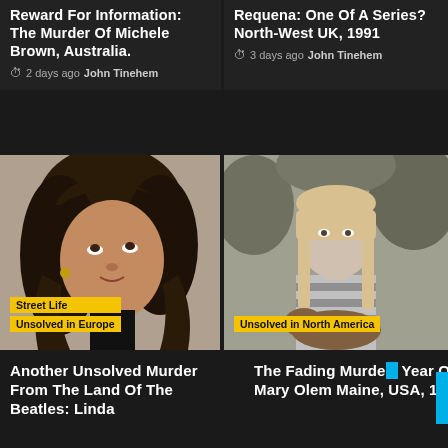Reward For Information: The Murder Of Michele Brown, Australia.
2 days ago  John Tinehem
Requena: One Of A Series? North-West UK, 1991
3 days ago  John Tinehem
[Figure (photo): Black and white photo of a woman with dark curly hair, looking upward. Badges: 'Street Life' and 'Unsolved in Europe']
[Figure (photo): Black and white photo of a young girl with long straight hair holding a dog, outdoors. Badge: 'Unsolved in North America']
Another Unsolved Murder From The Land Of The Beatles: Linda
The Fading Murder of Year Old Mary Olen Maine, USA, 1970